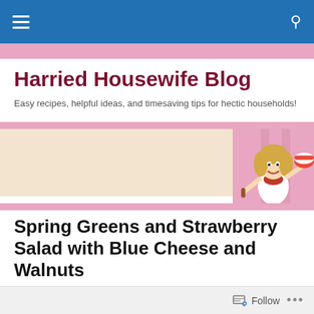Harried Housewife Blog navigation bar
Harried Housewife Blog
Easy recipes, helpful ideas, and timesaving tips for hectic households!
[Figure (illustration): Blog banner with cartoon illustration of a woman holding a mixing bowl and spatula, pink and cream background]
Spring Greens and Strawberry Salad with Blue Cheese and Walnuts
Follow